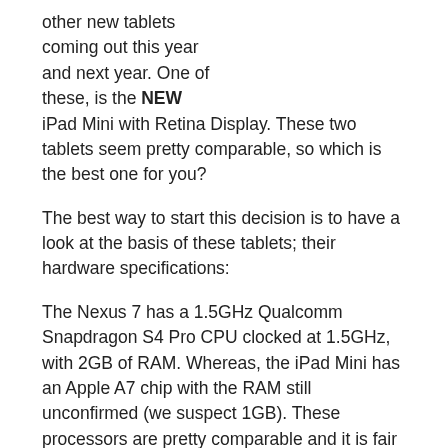other new tablets coming out this year and next year. One of these, is the NEW iPad Mini with Retina Display. These two tablets seem pretty comparable, so which is the best one for you?
The best way to start this decision is to have a look at the basis of these tablets; their hardware specifications:
The Nexus 7 has a 1.5GHz Qualcomm Snapdragon S4 Pro CPU clocked at 1.5GHz, with 2GB of RAM. Whereas, the iPad Mini has an Apple A7 chip with the RAM still unconfirmed (we suspect 1GB). These processors are pretty comparable and it is fair to say, that technically, they should perform very similarly in benchmarks. However, benchmarks are not the full story, it is how the devices will perform whilst playing games, surfing the web, etc. that matters. Let us assume that the iPad Mini has the 1GB of RAM it is speculated to have, this means that the Nexus 7 should be able to run more apps simultaneously without slowing down, than the iPad Mini. However, this may not actually be the case, as iOS is well